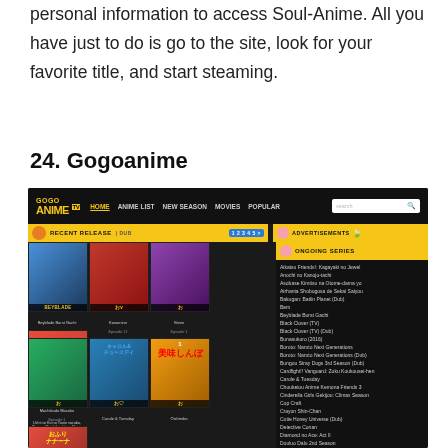personal information to access Soul-Anime. All you have just to do is go to the site, look for your favorite title, and start steaming.
24. Gogoanime
[Figure (screenshot): Screenshot of Gogoanime website showing the dark-themed anime streaming site with yellow navigation bar, recent releases section with anime thumbnails (Beyblade Burst Gachi Episode 14, Kanaminn Episode 11, Given Episode 1, Machikado Mazoku Episode 1), second row (Uchi no Ko no Tame naraba, Carole & Tuesday, Oishimbo, TV Yaro Namazue: Makunouku Dodoitsu Land), and an ongoing series sidebar listing multiple anime titles.]